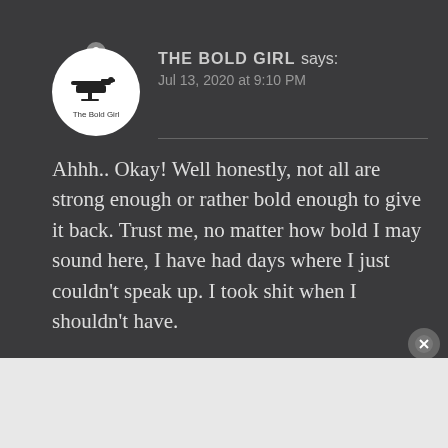[Figure (logo): The Bold Girl avatar logo — white circle with small helicopter/brand icon and text 'The Bold Girl']
THE BOLD GIRL says:
Jul 13, 2020 at 9:10 PM
Ahhh.. Okay! Well honestly, not all are strong enough or rather bold enough to give it back. Trust me, no matter how bold I may sound here, I have had days where I just couldn't speak up. I took shit when I shouldn't have.
Advertisements
[Figure (screenshot): Advertisement banner: dark navy background, text 'Opinions. We all have them!' with WordPress and another logo on the right]